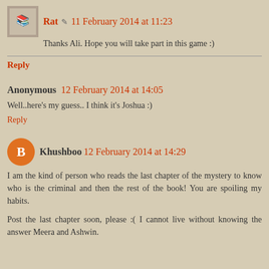Rat 🖊 11 February 2014 at 11:23
Thanks Ali. Hope you will take part in this game :)
Reply
Anonymous 12 February 2014 at 14:05
Well..here's my guess.. I think it's Joshua :)
Reply
Khushboo 12 February 2014 at 14:29
I am the kind of person who reads the last chapter of the mystery to know who is the criminal and then the rest of the book! You are spoiling my habits.
Post the last chapter soon, please :( I cannot live without knowing the answer Meera and Ashwin.